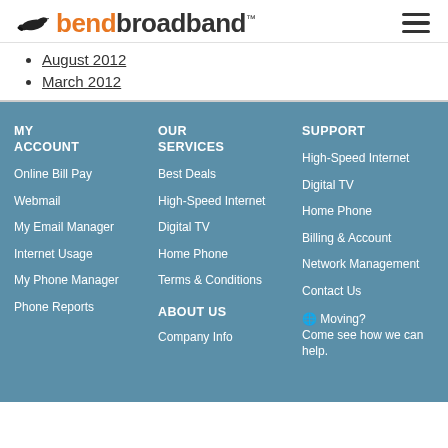bendbroadband
August 2012
March 2012
MY ACCOUNT
Online Bill Pay
Webmail
My Email Manager
Internet Usage
My Phone Manager
Phone Reports
OUR SERVICES
Best Deals
High-Speed Internet
Digital TV
Home Phone
Terms & Conditions
ABOUT US
Company Info
SUPPORT
High-Speed Internet
Digital TV
Home Phone
Billing & Account
Network Management
Contact Us
Moving? Come see how we can help.